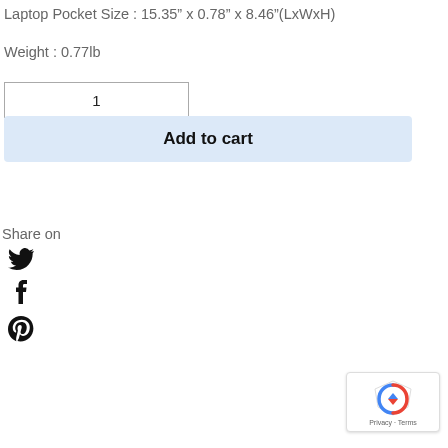Laptop Pocket Size : 15.35" x 0.78" x 8.46"(LxWxH)
Weight : 0.77lb
1
Add to cart
Share on
[Figure (illustration): Twitter bird icon]
[Figure (illustration): Facebook f icon]
[Figure (illustration): Pinterest P icon]
[Figure (logo): Google reCAPTCHA badge with rotating arrows logo and Privacy - Terms text]